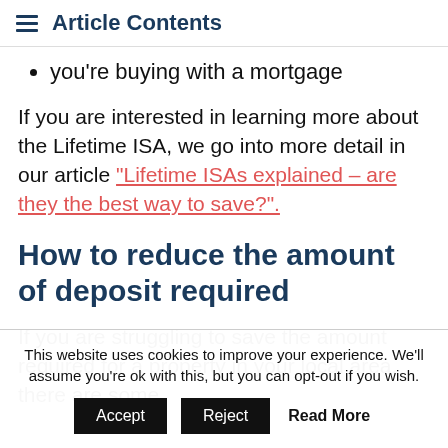Article Contents
you're buying with a mortgage
If you are interested in learning more about the Lifetime ISA, we go into more detail in our article "Lifetime ISAs explained – are they the best way to save?".
How to reduce the amount of deposit required
If you are struggling to save the amount required for a property in your local area, there are some
This website uses cookies to improve your experience. We'll assume you're ok with this, but you can opt-out if you wish. Accept Reject Read More